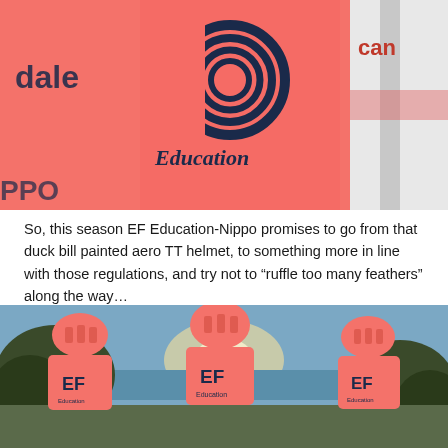[Figure (photo): Close-up of pink/salmon EF Education-Nippo cycling jerseys showing the EF logo with concentric rings, text reading 'Education', 'dale' (Cannondale), 'can', 'Nippo' partially visible. Jerseys are coral/salmon pink with dark navy logos.]
So, this season EF Education-Nippo promises to go from that duck bill painted aero TT helmet, to something more in line with those regulations, and try not to “ruffle too many feathers” along the way…
[Figure (photo): Three cyclists in coral/salmon pink EF Education-Nippo jerseys and matching helmets, photographed from behind, looking out over a scenic coastal landscape with trees and water in the background. Each jersey shows the EF logo and 'Education' text. They are standing with their bikes.]